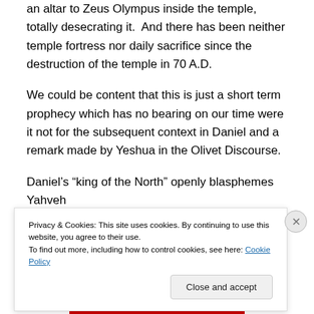an altar to Zeus Olympus inside the temple, totally desecrating it.  And there has been neither temple fortress nor daily sacrifice since the destruction of the temple in 70 A.D.
We could be content that this is just a short term prophecy which has no bearing on our time were it not for the subsequent context in Daniel and a remark made by Yeshua in the Olivet Discourse.
Daniel's “king of the North” openly blasphemes Yahveh and publicly magnifies himself above Yahveh.  These are
Privacy & Cookies: This site uses cookies. By continuing to use this website, you agree to their use.
To find out more, including how to control cookies, see here: Cookie Policy